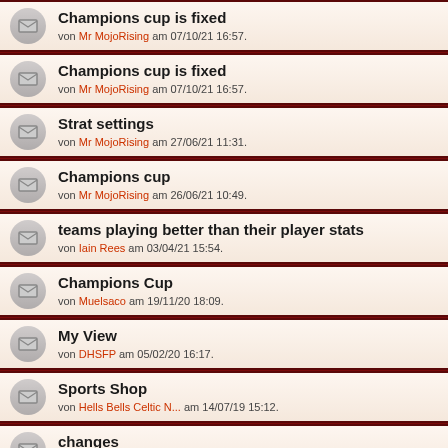Champions cup is fixed
von Mr MojoRising am 07/10/21 16:57.
Champions cup is fixed
von Mr MojoRising am 07/10/21 16:57.
Strat settings
von Mr MojoRising am 27/06/21 11:31.
Champions cup
von Mr MojoRising am 26/06/21 10:49.
teams playing better than their player stats
von Iain Rees am 03/04/21 15:54.
Champions Cup
von Muelsaco am 19/11/20 18:09.
My View
von DHSFP am 05/02/20 16:17.
Sports Shop
von Hells Bells Celtic N... am 14/07/19 15:12.
changes
von Mr MojoRising am 01/07/19 19:48.
In Guild Resource Centre